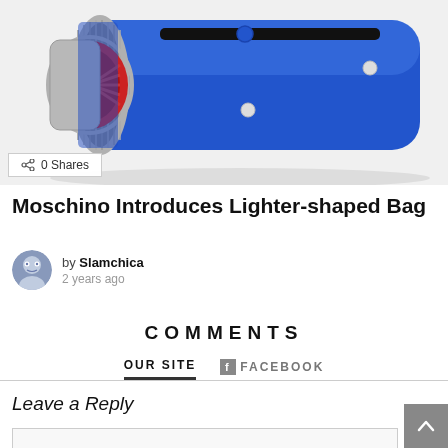[Figure (photo): Close-up photo of a blue Moschino lighter-shaped bag with red and chrome accents on a white background]
0 Shares
Moschino Introduces Lighter-shaped Bag
by Slamchica
2 years ago
COMMENTS
OUR SITE   FACEBOOK
Leave a Reply